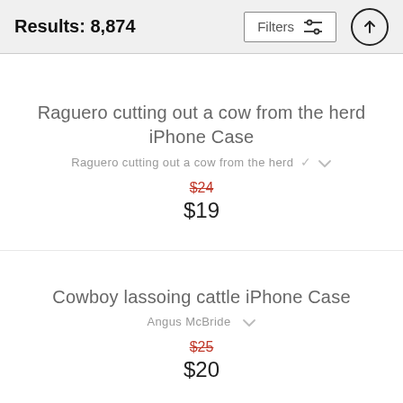Results: 8,874
Raguero cutting out a cow from the herd iPhone Case
Raguero cutting out a cow from the herd
$24 $19
Cowboy lassoing cattle iPhone Case
Angus McBride
$25 $20